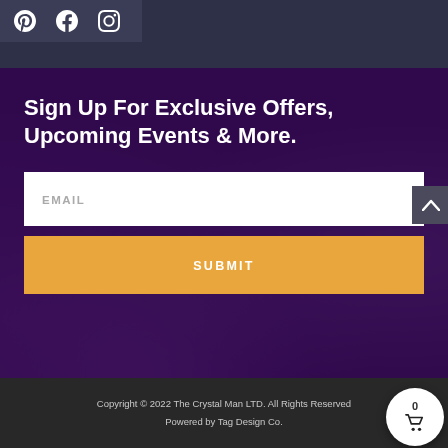[Figure (screenshot): Social media icons: Pinterest, Facebook, Instagram on dark header bar]
Sign Up For Exclusive Offers, Upcoming Events & More.
EMAIL
SUBMIT
Copyright © 2022 The Crystal Man LTD. All Rights Reserved
Powered by Tag Design Co.